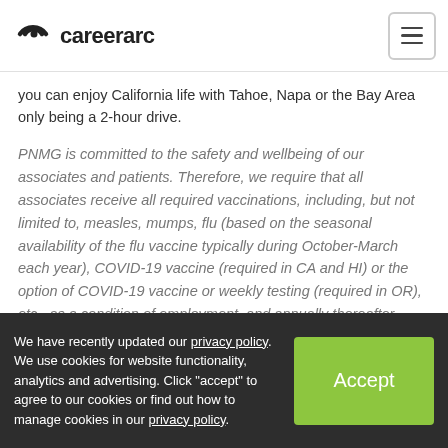careerarc
you can enjoy California life with Tahoe, Napa or the Bay Area only being a 2-hour drive.
PNMG is committed to the safety and wellbeing of our associates and patients. Therefore, we require that all associates receive all required vaccinations, including, but not limited to, measles, mumps, flu (based on the seasonal availability of the flu vaccine typically during October-March each year), COVID-19 vaccine (required in CA and HI) or the option of COVID-19 vaccine or weekly testing (required in OR), etc., as a condition of employment, and annually thereafter. Medical and religious exemptions may apply.
We have recently updated our privacy policy. We use cookies for website functionality, analytics and advertising. Click "accept" to agree to our cookies or find out how to manage cookies in our privacy policy.